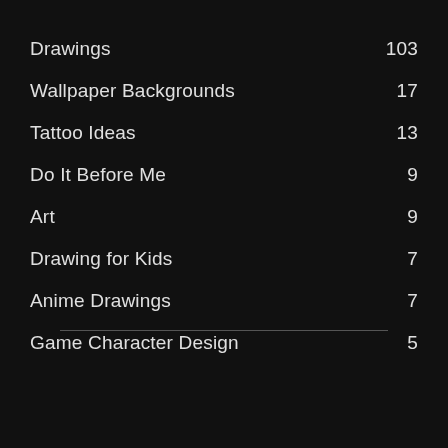Drawings 103
Wallpaper Backgrounds 17
Tattoo Ideas 13
Do It Before Me 9
Art 9
Drawing for Kids 7
Anime Drawings 7
Game Character Design 5